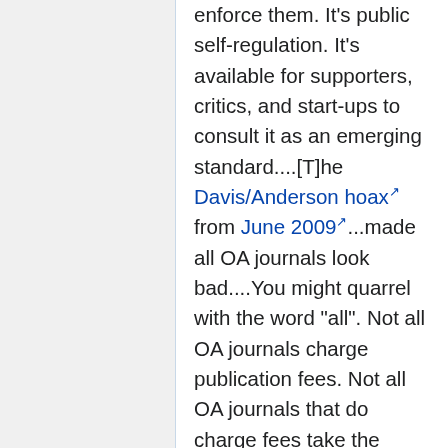enforce them. It's public self-regulation. It's available for supporters, critics, and start-ups to consult it as an emerging standard....[T]he Davis/Anderson hoax from June 2009...made all OA journals look bad....You might quarrel with the word "all". Not all OA journals charge publication fees. Not all OA journals that do charge fees take the money and fail to deliver honest peer review, or even a cursory human glance. True and true. The actual number of journals like TOISCIJ [The Open Information Science Journal] is very small. But most people who hear about the Davis/Anderson hoax don't understand the